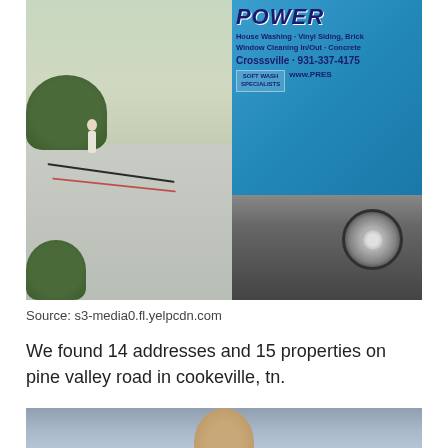[Figure (photo): Photo showing a worker power washing a driveway on the left side, and a blue trailer/truck on the right with text: POWER, House Washing · Vinyl Siding, Brick, Window Cleaning In/Out · Concrete, Crossville · 931-337-4175, SOFT WASH SPECIALISTS, www.PRES]
Source: s3-media0.fl.yelpcdn.com
We found 14 addresses and 15 properties on pine valley road in cookeville, tn.
[Figure (photo): Partial photo of a person's face/head, cropped at bottom of page]